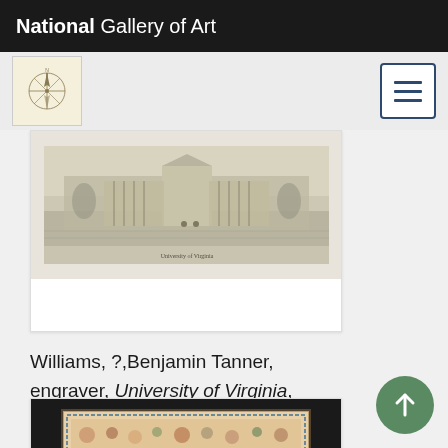National Gallery of Art
[Figure (screenshot): Navigation bar with NGA compass rose logo icon on left and hamburger menu button on right]
[Figure (photo): Engraving of University of Virginia, 1826, showing a panoramic view of the campus with buildings and colonnades]
Williams, ?,Benjamin Tanner, engraver, University of Virginia, 1826
[Figure (photo): Decorative needlework sampler with ornate floral and architectural motifs on dark background]